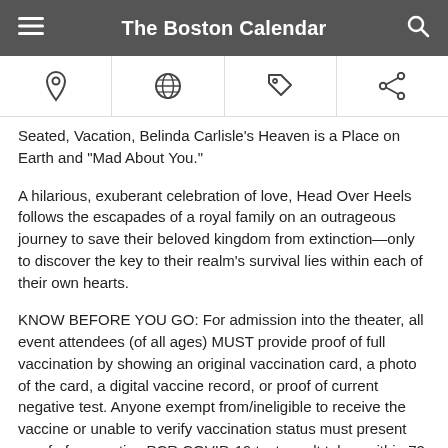The Boston Calendar
[Figure (infographic): Icon navigation bar with four icons: location pin, globe, price tag, share]
Seated,  Vacation, Belinda Carlisle's  Heaven is a Place on Earth and "Mad About You."
A hilarious, exuberant celebration of love, Head Over Heels follows the escapades of a royal family on an outrageous journey to save their beloved kingdom from extinction—only to discover the key to their realm's survival lies within each of their own hearts.
KNOW BEFORE YOU GO: For admission into the theater, all event attendees (of all ages) MUST provide proof of full vaccination by showing an original vaccination card, a photo of the card, a digital vaccine record, or proof of current negative test. Anyone exempt from/ineligible to receive the vaccine or unable to verify vaccination status must present proof of a negative PCR COVID-19 test result taken within 72 hours of the time of entry; a rapid test administered by a healthcare professional within 24 hours of the time of entry; a photograph of self-administered at home test